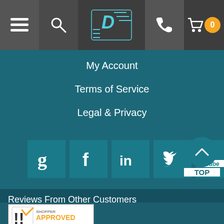[Figure (screenshot): Website navigation bar with hamburger menu, search icon, DiscTech logo, phone icon, cart icon with 0 badge]
My Account
Terms of Service
Legal & Privacy
[Figure (other): Social media icons row: Google, Facebook, LinkedIn, Twitter, YouTube in teal square buttons, with a TOP scroll button]
Reviews From Other Customers
[Figure (logo): Shopper Approved badge - SEE MORE REVIEWS]
Copyright © 2022 All Rights Reserved, DiscTech® (N.B. formerly DiscounTechnology.net Discount Technology), San Diego, California